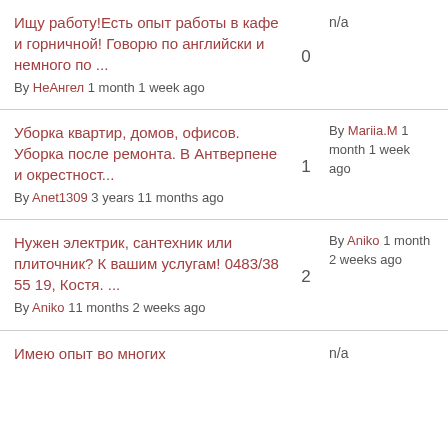Ищу работу!Есть опыт работы в кафе и горничной! Говорю по английски и немного по ... By НеАнгел 1 month 1 week ago | 0 | n/a
Уборка квартир, домов, офисов. Уборка после ремонта. В Антверпене и окрестност... By Anet1309 3 years 11 months ago | 1 | By Mariia.M 1 month 1 week ago
Нужен электрик, сантехник или плиточник? К вашим услугам! 0483/38 55 19, Костя. ... By Aniko 11 months 2 weeks ago | 2 | By Aniko 1 month 2 weeks ago
Имею опыт во многих ... | n/a